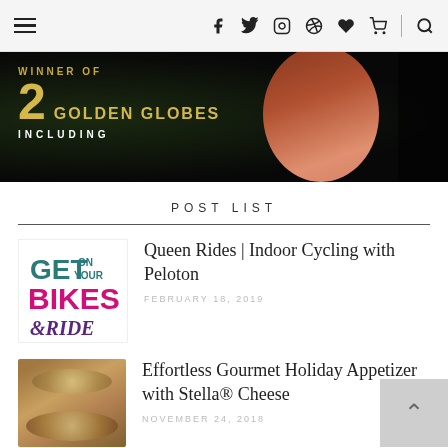Navigation bar with hamburger menu and social icons (Facebook, Twitter, Instagram, Pinterest, Cart, Search)
[Figure (photo): Advertisement banner: dark background with gold text 'WINNER OF 2 GOLDEN GLOBES INCLUDING' and a woman in red clothing on the right]
POST LIST
[Figure (illustration): Colorful logo with text 'GET ON YOUR BIKES & RIDE' in teal, pink, and purple lettering]
Queen Rides | Indoor Cycling with Peloton
FEBRUARY 18, 2019
[Figure (photo): Food photo showing gourmet holiday appetizers on a dark surface]
Effortless Gourmet Holiday Appetizer with Stella® Cheese
NOVEMBER 24, 2018